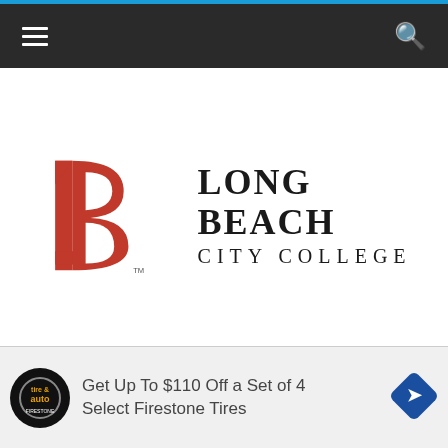Navigation bar with hamburger menu and search icon
[Figure (logo): Long Beach City College logo with red LB lettermark and black serif text reading LONG BEACH CITY COLLEGE]
[Figure (logo): LBCC Viking bird mascot — dark red stylized flying bird]
Get Up To $110 Off a Set of 4 Select Firestone Tires